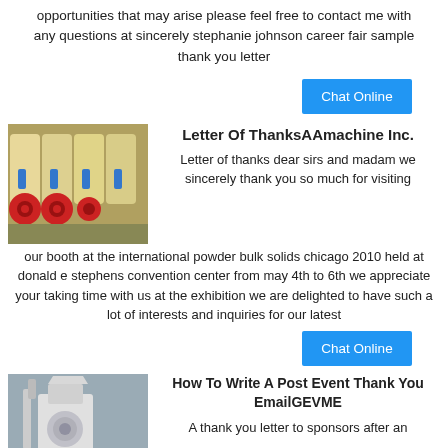opportunities that may arise please feel free to contact me with any questions at sincerely stephanie johnson career fair sample thank you letter
[Figure (other): Blue 'Chat Online' button]
[Figure (photo): Industrial powder/bulk solids machinery with red wheels and blue components]
Letter Of ThanksAAmachine Inc.
Letter of thanks dear sirs and madam we sincerely thank you so much for visiting our booth at the international powder bulk solids chicago 2010 held at donald e stephens convention center from may 4th to 6th we appreciate your taking time with us at the exhibition we are delighted to have such a lot of interests and inquiries for our latest
[Figure (other): Blue 'Chat Online' button]
[Figure (photo): Industrial milling or grinding machine, white/grey machinery]
How To Write A Post Event Thank You EmailGEVME
A thank you letter to sponsors after an event is a document that...